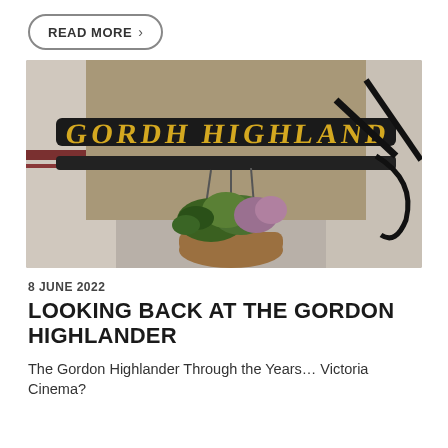READ MORE >
[Figure (photo): Close-up photo of a black iron sign reading 'Gordon Highlander' in gold lettering, with hanging flower baskets containing green plants and heather, mounted on a stone building exterior.]
8 JUNE 2022
LOOKING BACK AT THE GORDON HIGHLANDER
The Gordon Highlander Through the Years… Victoria Cinema?